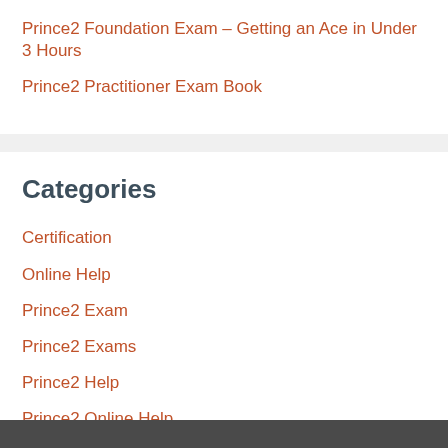Prince2 Foundation Exam – Getting an Ace in Under 3 Hours
Prince2 Practitioner Exam Book
Categories
Certification
Online Help
Prince2 Exam
Prince2 Exams
Prince2 Help
Prince2 Online Help